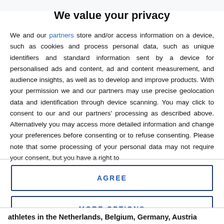We value your privacy
We and our partners store and/or access information on a device, such as cookies and process personal data, such as unique identifiers and standard information sent by a device for personalised ads and content, ad and content measurement, and audience insights, as well as to develop and improve products. With your permission we and our partners may use precise geolocation data and identification through device scanning. You may click to consent to our and our partners' processing as described above. Alternatively you may access more detailed information and change your preferences before consenting or to refuse consenting. Please note that some processing of your personal data may not require your consent, but you have a right to
AGREE
MORE OPTIONS
athletes in the Netherlands, Belgium, Germany, Austria